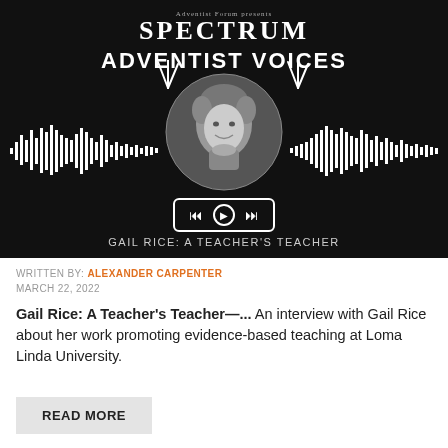[Figure (screenshot): Spectrum Adventist Voices podcast artwork showing a black and white portrait of Gail Rice in a circular frame with audio waveforms on either side, podcast player controls, and the text 'GAIL RICE: A TEACHER'S TEACHER' at the bottom on a black background]
WRITTEN BY: ALEXANDER CARPENTER
MARCH 22, 2022
Gail Rice: A Teacher's Teacher—... An interview with Gail Rice about her work promoting evidence-based teaching at Loma Linda University.
READ MORE